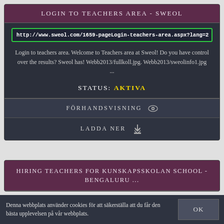LOGIN TO TEACHERS AREA - SWEOL
http://www.sweol.com/1659-pageLogin-teachers-area.aspx?lang=2
Login to teachers area. Welcome to Teachers area at Sweol! Do you have control over the results? Sweol has! Webb2013/fullkoll.jpg. Webb2013/sweolinfo1.jpg ...
STATUS: AKTIVA
FÖRHANDSVISNING
LADDA NER
HIRING TEACHERS FOR KUNSKAPSSKOLAN SCHOOL - BENGALURU ...
Denna webbplats använder cookies för att säkerställa att du får den bästa upplevelsen på vår webbplats.